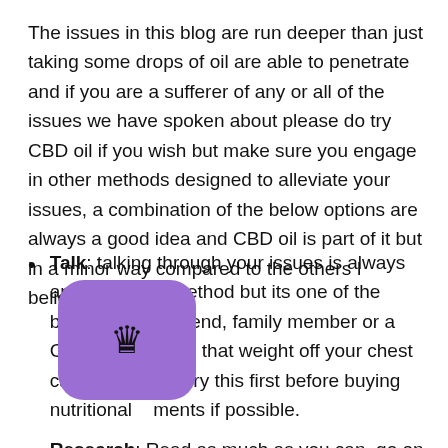The issues in this blog are run deeper than just taking some drops of oil are able to penetrate and if you are a sufferer of any or all of the issues we have spoken about please do try CBD oil if you wish but make sure you engage in other methods designed to alleviate your issues, a combination of the below options are always a good idea and CBD oil is part of it but in a minor way compared to the others I believe.
Talk: talking through your issues is always an underused method but its one of the best, be it to a friend, family member or a Councillor getting that weight off your chest can really help. Try this first before buying nutritional supplements if possible.
Research: Read as much as you can, go on forums associated with the theme of anxiety, depression and drug addiction, some great ones are these below.